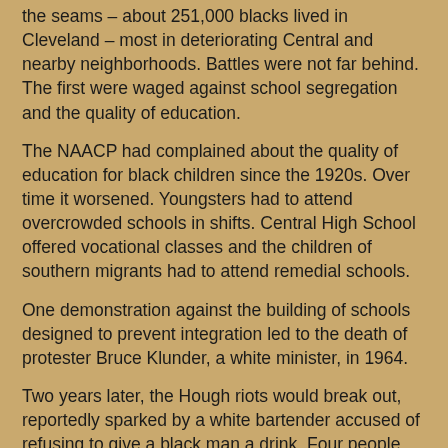the seams – about 251,000 blacks lived in Cleveland – most in deteriorating Central and nearby neighborhoods. Battles were not far behind. The first were waged against school segregation and the quality of education.
The NAACP had complained about the quality of education for black children since the 1920s. Over time it worsened. Youngsters had to attend overcrowded schools in shifts. Central High School offered vocational classes and the children of southern migrants had to attend remedial schools.
One demonstration against the building of schools designed to prevent integration led to the death of protester Bruce Klunder, a white minister, in 1964.
Two years later, the Hough riots would break out, reportedly sparked by a white bartender accused of refusing to give a black man a drink. Four people were killed, 30 people injured. But the fuse was set long before, said Jones.
“There were overcrowded conditions and lots of frustration,” she said. `We were in a downturn economically. People were having a hard time. Cleveland was very racist. People found all kinds of